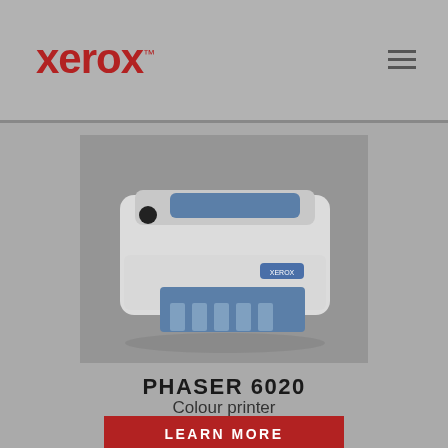Xerox
[Figure (photo): Xerox Phaser 6020 colour laser printer, white body with blue paper tray, front three-quarter view]
PHASER 6020
Colour printer
LEARN MORE